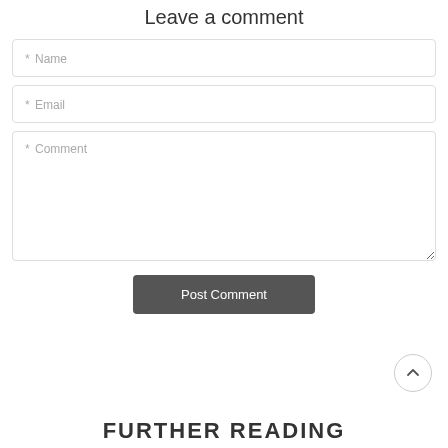Leave a comment
* Name
* Email
* Comment
Post Comment
FURTHER READING